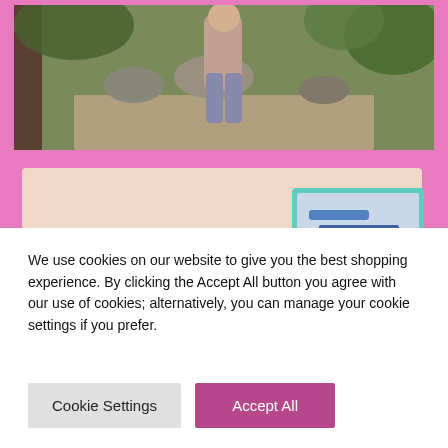[Figure (photo): Top portion showing a child walking outdoors on a stone path with rocks and green trees/shrubs in the background, on a pink background]
[Figure (photo): A pink/beige decorative card with cursive handwriting text 'What do you do to Relax?' with watercolor eucalyptus leaves, overlaid with two smaller photos: one of crafting/sewing items and one of green aquatic plants/fish tank]
We use cookies on our website to give you the best shopping experience. By clicking the Accept All button you agree with our use of cookies; alternatively, you can manage your cookie settings if you prefer.
Cookie Settings
Accept All